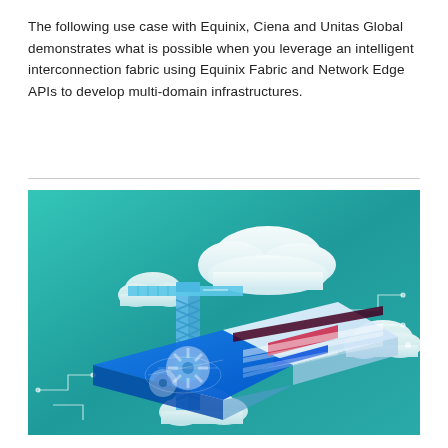The following use case with Equinix, Ciena and Unitas Global demonstrates what is possible when you leverage an intelligent interconnection fabric using Equinix Fabric and Network Edge APIs to develop multi-domain infrastructures.
[Figure (illustration): Isometric illustration on teal/green gradient background showing a construction crane (blue lattice structure), large white cloud shapes, and a flat tablet/panel device with blue UI elements including gears, world map, and interface panels. Circuit-like line decorations in corners.]